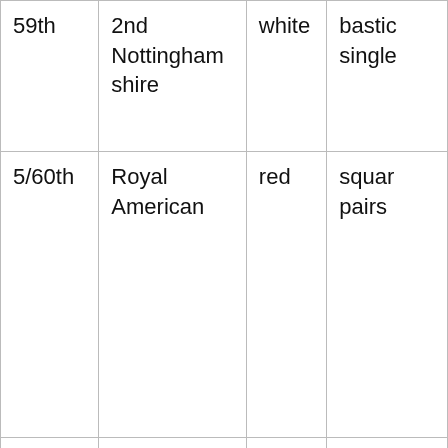| Number | Name | Facing colour | Button arrangement |
| --- | --- | --- | --- |
| 59th | 2nd Nottinghamshire | white | bastion single |
| 5/60th | Royal American | red | square pairs |
| 61st | South Gloustershire | buff | square single |
| 62nd | Wiltshire | buff | square |